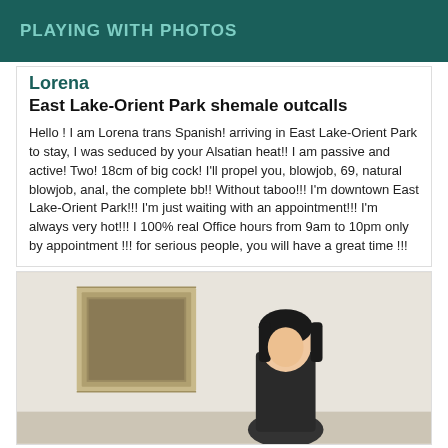PLAYING WITH PHOTOS
Lorena
East Lake-Orient Park shemale outcalls
Hello ! I am Lorena trans Spanish! arriving in East Lake-Orient Park to stay, I was seduced by your Alsatian heat!! I am passive and active! Two! 18cm of big cock! I'll propel you, blowjob, 69, natural blowjob, anal, the complete bb!! Without taboo!!! I'm downtown East Lake-Orient Park!!! I'm just waiting with an appointment!!! I'm always very hot!!! I 100% real Office hours from 9am to 10pm only by appointment !!! for serious people, you will have a great time !!!
[Figure (photo): Indoor photo showing a person with dark hair standing in a room with a framed picture on the wall behind them. The walls are light beige/cream colored.]